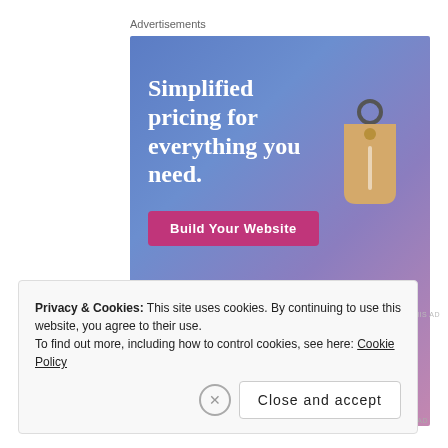Advertisements
[Figure (screenshot): WordPress.com advertisement banner with gradient blue-to-pink background. Headline reads 'Simplified pricing for everything you need.' with a 'Build Your Website' pink button and a price tag illustration. WordPress.com logo at bottom left.]
REPORT THIS AD
Privacy & Cookies: This site uses cookies. By continuing to use this website, you agree to their use.
To find out more, including how to control cookies, see here: Cookie Policy
Close and accept